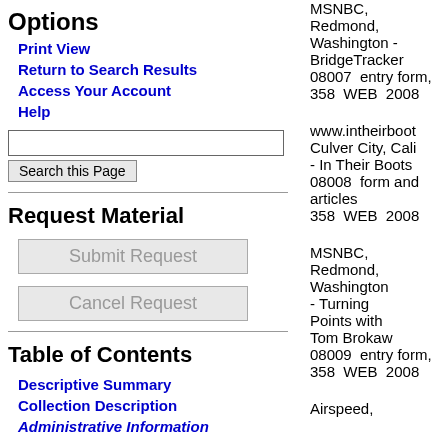Options
Print View
Return to Search Results
Access Your Account
Help
Request Material
Table of Contents
Descriptive Summary
Collection Description
Administrative Information
MSNBC, Redmond, Washington - BridgeTracker entry form, 2008
08007 WEB
358
www.intheirboot Culver City, Cali - In Their Boots form and articles 2008
08008 WEB
358
MSNBC, Redmond, Washington - Turning Points with Tom Brokaw entry form, 2008
08009 WEB
358
Airspeed,